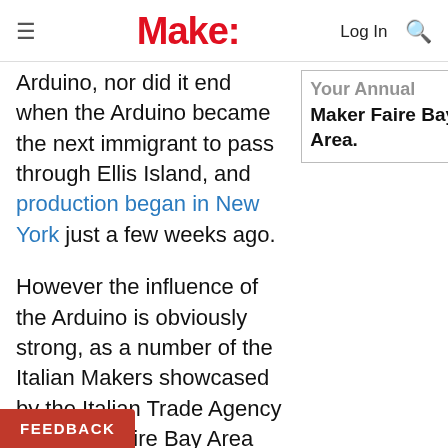Make: — Log In [search]
Arduino, nor did it end when the Arduino became the next immigrant to pass through Ellis Island, and production began in New York just a few weeks ago.
Your Annual Maker Faire Bay Area.
However the influence of the Arduino is obviously strong, as a number of the Italian Makers showcased by the Italian Trade Agency at Maker Faire Bay Area made use of the board under the hood.
[youtube https://youtu.be/Kw37VfXlbCg]
Amongst the Makers that were showcased by the agency was Energica, who brought along their all-[electric motorbike capable of accelerating from 0 to 60 mph in 3 seconds to reach a top speed of 150 mph,
FEEDBACK